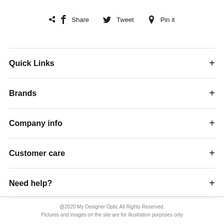f Share   y Tweet   p Pin it
Quick Links +
Brands +
Company info +
Customer care +
Need help? +
@2020 My Designer Optic All Rights Reserved.
Pictures and images on the site are for illustration purposes only